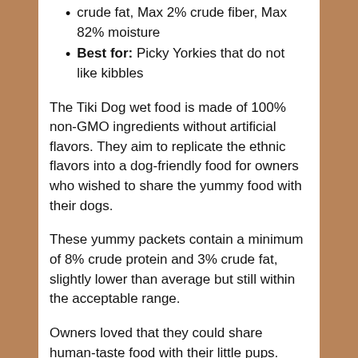crude fat, Max 2% crude fiber, Max 82% moisture
Best for: Picky Yorkies that do not like kibbles
The Tiki Dog wet food is made of 100% non-GMO ingredients without artificial flavors. They aim to replicate the ethnic flavors into a dog-friendly food for owners who wished to share the yummy food with their dogs.
These yummy packets contain a minimum of 8% crude protein and 3% crude fat, slightly lower than average but still within the acceptable range.
Owners loved that they could share human-taste food with their little pups. Picky dogs also loved at least 1-2 of the available flavors, which looked and smelled almost like the actual human food product.
However, there are a few cases whereby dogs have been reported to feel sick after consuming this food. Therefore, do monitor your dog if you are trying this food